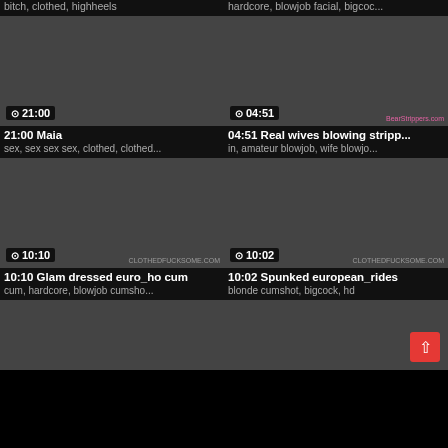bitch, clothed, highheels
hardcore, blowjob facial, bigcoc...
[Figure (photo): Video thumbnail showing duration 21:00]
[Figure (photo): Video thumbnail showing duration 04:51, watermark BearStrippers.com]
21:00 Maia
04:51 Real wives blowing stripp...
sex, sex sex sex, clothed, clothed...
in, amateur blowjob, wife blowjo...
[Figure (photo): Video thumbnail showing duration 10:10, watermark CLOTHEDFUCKSOME.COM]
[Figure (photo): Video thumbnail showing duration 10:02, watermark CLOTHEDFUCKSOME.COM]
10:10 Glam dressed euro_ho cum
10:02 Spunked european_rides
cum, hardcore, blowjob cumsho...
blonde cumshot, bigcock, hd
[Figure (photo): Partial video thumbnail bottom left - outdoor scene]
[Figure (photo): Partial video thumbnail bottom right - indoor scene with scroll-to-top button]